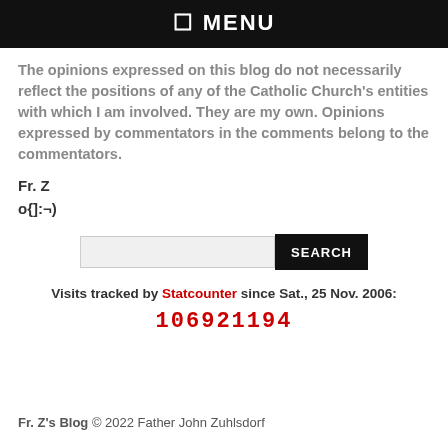☰ MENU
The opinions expressed on this blog do not necessarily reflect the positions of any of the Catholic Church's entities with which I am involved. They are my own. Opinions expressed by commentators in the comments belong to the commentators.
Fr. Z
o{]:¬)
[Figure (other): Search input field with SEARCH button]
Visits tracked by Statcounter since Sat., 25 Nov. 2006:
106921194
Fr. Z's Blog © 2022 Father John Zuhlsdorf